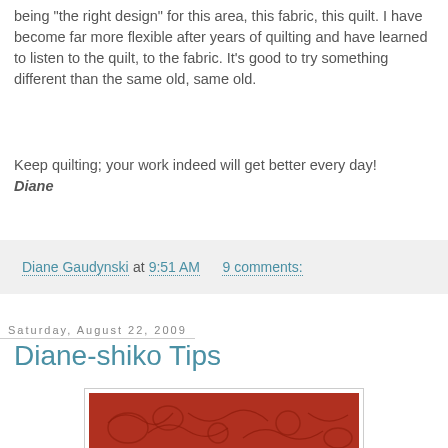being "the right design" for this area, this fabric, this quilt. I have become far more flexible after years of quilting and have learned to listen to the quilt, to the fabric. It's good to try something different than the same old, same old.
Keep quilting; your work indeed will get better every day!
Diane
Diane Gaudynski at 9:51 AM    9 comments:
Saturday, August 22, 2009
Diane-shiko Tips
[Figure (photo): Close-up photo of red quilted fabric with intricate swirling and feather quilting patterns, with small green triangular fabric pieces visible at the top edge.]